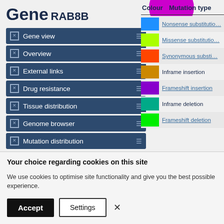Gene
RAB8B
Gene view
Overview
External links
Drug resistance
Tissue distribution
Genome browser
Mutation distribution
| Colour | Mutation type |
| --- | --- |
| [Blue] | Nonsense substitution |
| [Lime green] | Missense substitution |
| [Orange-red] | Synonymous substitution |
| [Dark yellow] | Inframe insertion |
| [Purple] | Frameshift insertion |
| [Teal] | Inframe deletion |
| [Bright green] | Frameshift deletion |
Your choice regarding cookies on this site
We use cookies to optimise site functionality and give you the best possible experience.